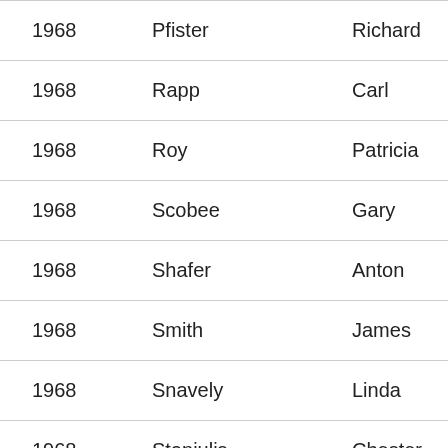| 1968 | Pfister | Richard | G |
| 1968 | Rapp | Carl | L |
| 1968 | Roy | Patricia | L |
| 1968 | Scobee | Gary | E |
| 1968 | Shafer | Anton | F |
| 1968 | Smith | James | S |
| 1968 | Snavely | Linda | K |
| 1968 | Stanjulis | Chester | P |